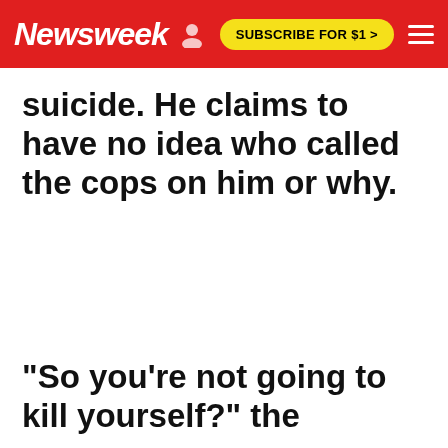Newsweek | SUBSCRIBE FOR $1 >
suicide. He claims to have no idea who called the cops on him or why.
"So you're not going to kill yourself?" the